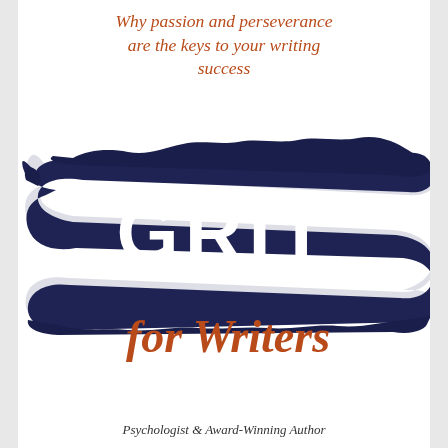Why passion and perseverance are the keys to your writing success
[Figure (illustration): Book cover graphic: large dark navy paintbrush stroke across the center with 'GRIT' in bold white uppercase letters, and 'for Writers' in rust/orange italic script font below the stroke]
Psychologist & Award-Winning Author